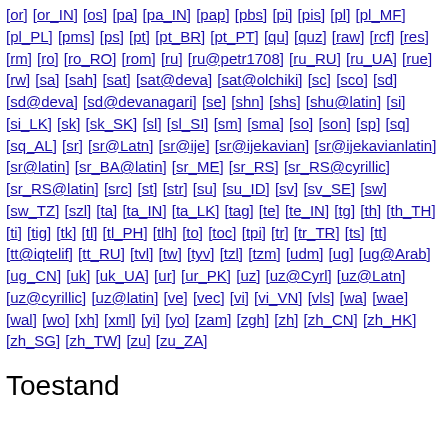[or] [or_IN] [os] [pa] [pa_IN] [pap] [pbs] [pi] [pis] [pl] [pl_MF] [pl_PL] [pms] [ps] [pt] [pt_BR] [pt_PT] [qu] [quz] [raw] [rcf] [res] [rm] [ro] [ro_RO] [rom] [ru] [ru@petr1708] [ru_RU] [ru_UA] [rue] [rw] [sa] [sah] [sat] [sat@deva] [sat@olchiki] [sc] [sco] [sd] [sd@deva] [sd@devanagari] [se] [shn] [shs] [shu@latin] [si] [si_LK] [sk] [sk_SK] [sl] [sl_SI] [sm] [sma] [so] [son] [sp] [sq] [sq_AL] [sr] [sr@Latn] [sr@ije] [sr@ijekavian] [sr@ijekavianlatin] [sr@latin] [sr_BA@latin] [sr_ME] [sr_RS] [sr_RS@cyrillic] [sr_RS@latin] [src] [st] [str] [su] [su_ID] [sv] [sv_SE] [sw] [sw_TZ] [szl] [ta] [ta_IN] [ta_LK] [tag] [te] [te_IN] [tg] [th] [th_TH] [ti] [tig] [tk] [tl] [tl_PH] [tlh] [to] [toc] [tpi] [tr] [tr_TR] [ts] [tt] [tt@iqtelif] [tt_RU] [tvl] [tw] [tyv] [tzl] [tzm] [udm] [ug] [ug@Arab] [ug_CN] [uk] [uk_UA] [ur] [ur_PK] [uz] [uz@Cyrl] [uz@Latn] [uz@cyrillic] [uz@latin] [ve] [vec] [vi] [vi_VN] [vls] [wa] [wae] [wal] [wo] [xh] [xml] [yi] [yo] [zam] [zgh] [zh] [zh_CN] [zh_HK] [zh_SG] [zh_TW] [zu] [zu_ZA]
Toestand